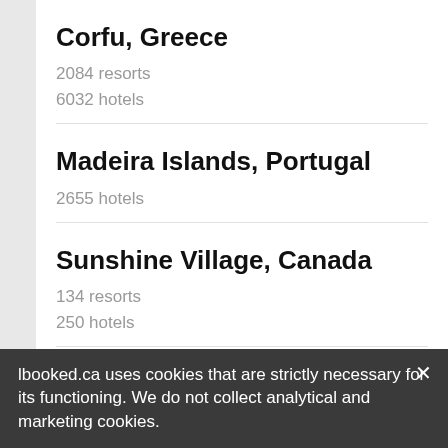Corfu, Greece
2084 resorts
6032 hotels
Madeira Islands, Portugal
2655 hotels
Sunshine Village, Canada
134 resorts
250 hotels
Mont Sainte-Anne, Canada
111 hotels
Riviera Nayarit, Mexico
lbooked.ca uses cookies that are strictly necessary for its functioning. We do not collect analytical and marketing cookies.